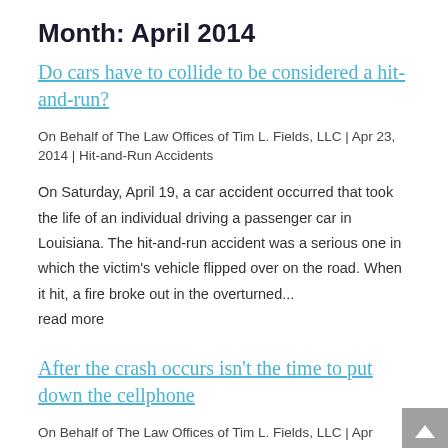Month: April 2014
Do cars have to collide to be considered a hit-and-run?
On Behalf of The Law Offices of Tim L. Fields, LLC | Apr 23, 2014 | Hit-and-Run Accidents
On Saturday, April 19, a car accident occurred that took the life of an individual driving a passenger car in Louisiana. The hit-and-run accident was a serious one in which the victim's vehicle flipped over on the road. When it hit, a fire broke out in the overturned...
read more
After the crash occurs isn't the time to put down the cellphone
On Behalf of The Law Offices of Tim L. Fields, LLC | Apr